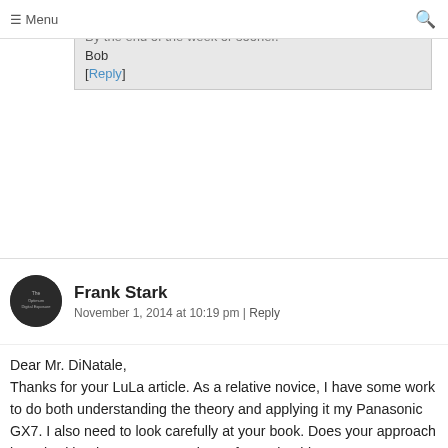≡ Menu
Nick
By the end of the week or sooner.
Bob
[Reply]
Frank Stark
November 1, 2014 at 10:19 pm | Reply
Dear Mr. DiNatale,
Thanks for your LuLa article. As a relative novice, I have some work to do both understanding the theory and applying it my Panasonic GX7. I also need to look carefully at your book. Does your approach it work with other raw processing software beside LR _eg Capture One 7 or 8 or just LR?